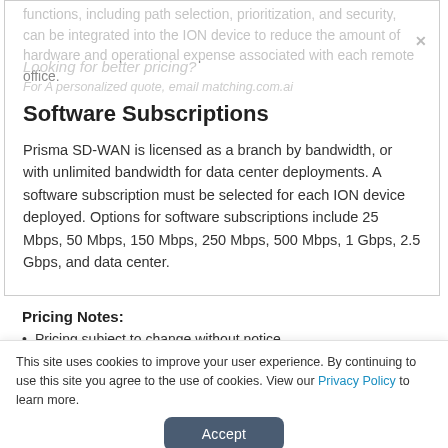functions, including path selection, prioritization, and security, can be integrated into the ION device to reduce the amount of hardware and operational expense associated with each remote office.
Software Subscriptions
Prisma SD-WAN is licensed as a branch by bandwidth, or with unlimited bandwidth for data center deployments. A software subscription must be selected for each ION device deployed. Options for software subscriptions include 25 Mbps, 50 Mbps, 150 Mbps, 250 Mbps, 500 Mbps, 1 Gbps, 2.5 Gbps, and data center.
Pricing Notes:
Pricing subject to change without notice.
This site uses cookies to improve your user experience. By continuing to use this site you agree to the use of cookies. View our Privacy Policy to learn more.